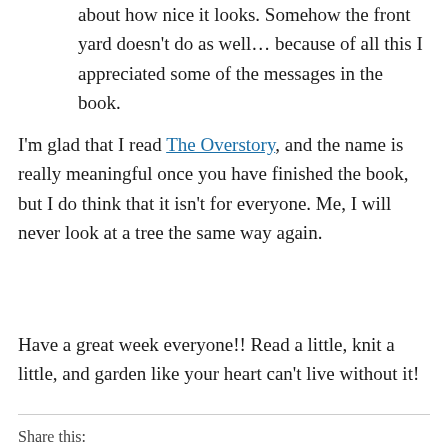about how nice it looks. Somehow the front yard doesn't do as well… because of all this I appreciated some of the messages in the book.
I'm glad that I read The Overstory, and the name is really meaningful once you have finished the book, but I do think that it isn't for everyone. Me, I will never look at a tree the same way again.
Have a great week everyone!! Read a little, knit a little, and garden like your heart can't live without it!
Share this: